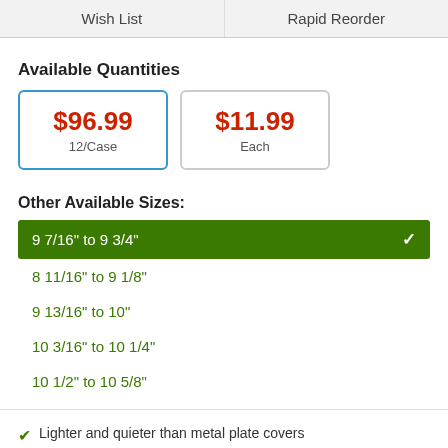Wish List
Rapid Reorder
Available Quantities
$96.99
12/Case
$11.99
Each
Other Available Sizes:
9 7/16" to 9 3/4" (selected)
8 11/16" to 9 1/8"
9 13/16" to 10"
10 3/16" to 10 1/4"
10 1/2" to 10 5/8"
Lighter and quieter than metal plate covers
Can be heated up to 212 degrees Fahrenheit, which keeps food hot and fresh for meal delivery service
Covers plates that are 9 7/16" to 9 3/4" in diameter